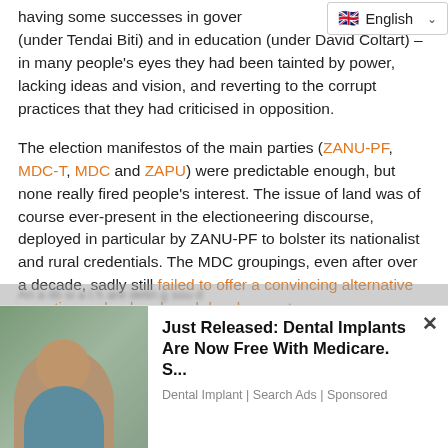having some successes in governance – in the economy (under Tendai Biti) and in education (under David Coltart) – in many people's eyes they had been tainted by power, lacking ideas and vision, and reverting to the corrupt practices that they had criticised in opposition.
The election manifestos of the main parties (ZANU-PF, MDC-T, MDC and ZAPU) were predictable enough, but none really fired people's interest. The issue of land was of course ever-present in the electioneering discourse, deployed in particular by ZANU-PF to bolster its nationalist and rural credentials. The MDC groupings, even after over a decade, sadly still failed to offer a convincing alternative narrative on land and rural development.
[Figure (other): Advertisement banner: dental implants ad with photo of smiling woman and text 'Just Released: Dental Implants Are Now Free With Medicare. S...' from Dental Implant | Search Ads | Sponsored]